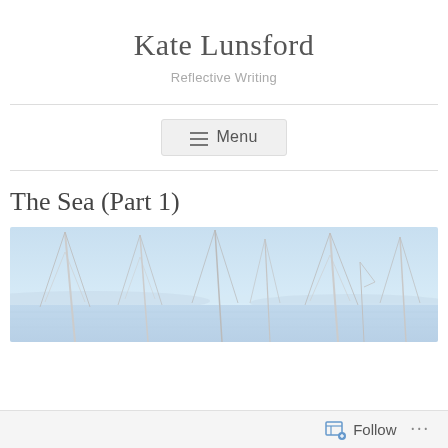Kate Lunsford
Reflective Writing
≡ Menu
The Sea (Part 1)
[Figure (photo): Photograph of sailboat masts against a pale blue sky, taken at a marina. Multiple tall masts with rigging are visible, with a faint horizon line and distant land or hills in the background.]
Follow ...